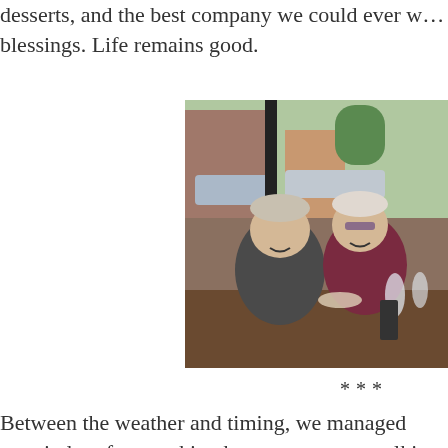desserts, and the best company we could ever w… blessings. Life remains good.
[Figure (photo): Two people, a man and a woman with white/grey hair, smiling and seated at a restaurant table near a window. The woman wears a dark red/maroon top. The man wears a dark grey shirt. There are glasses and dishes on the table. Outside the window is a street with cars and brick buildings.]
***
Between the weather and timing, we managed… remainder of our waking hours were spent talkin… Midwest sojourn for Atlanta man. Tomorrow h…